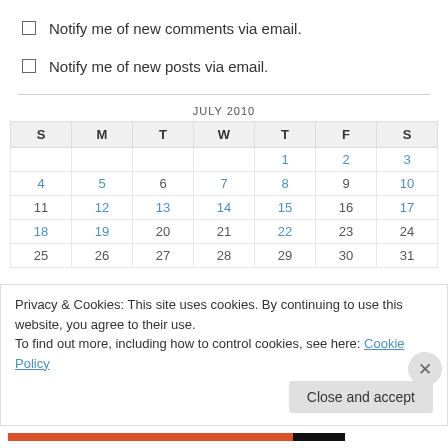Notify me of new comments via email.
Notify me of new posts via email.
| S | M | T | W | T | F | S |
| --- | --- | --- | --- | --- | --- | --- |
|  |  |  |  | 1 | 2 | 3 |
| 4 | 5 | 6 | 7 | 8 | 9 | 10 |
| 11 | 12 | 13 | 14 | 15 | 16 | 17 |
| 18 | 19 | 20 | 21 | 22 | 23 | 24 |
| 25 | 26 | 27 | 28 | 29 | 30 | 31 |
Privacy & Cookies: This site uses cookies. By continuing to use this website, you agree to their use.
To find out more, including how to control cookies, see here: Cookie Policy